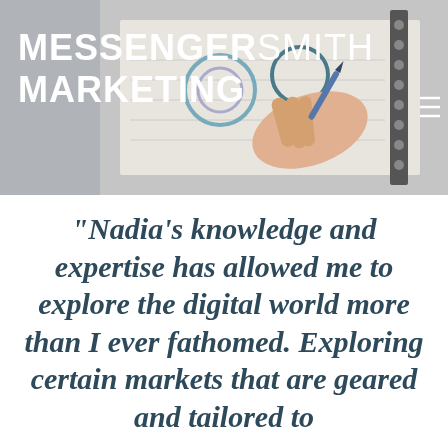[Figure (photo): Header banner with a photo of a hand writing in a notebook/planner with a pen, shown from above. Charts/graphs visible on the notebook pages. Background is grey. The MessengerSmith Marketing logo appears over the image in white bold text.]
MESSENGERSMITH MARKETING
“Nadia’s knowledge and expertise has allowed me to explore the digital world more than I ever fathomed. Exploring certain markets that are geared and tailored to